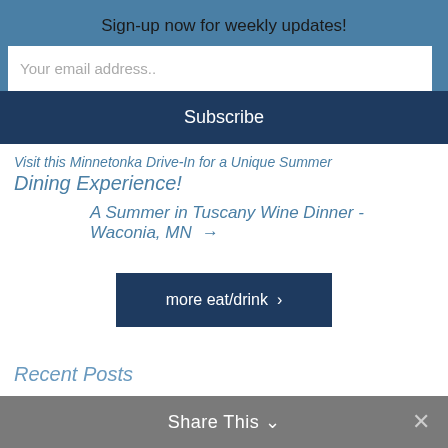Sign-up now for weekly updates!
Your email address..
Subscribe
Visit this Minnetonka Drive-In for a Unique Summer
Dining Experience!
A Summer in Tuscany Wine Dinner - Waconia, MN →
more eat/drink ›
Recent Posts
Share This ∨  ✕